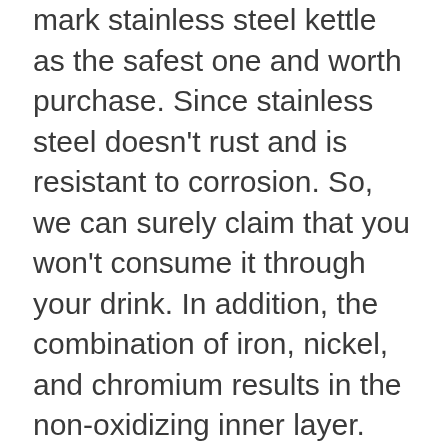mark stainless steel kettle as the safest one and worth purchase. Since stainless steel doesn't rust and is resistant to corrosion. So, we can surely claim that you won't consume it through your drink. In addition, the combination of iron, nickel, and chromium results in the non-oxidizing inner layer. Most importantly, the absence of aluminum and copper is an undeniable bonus since both acts as brain rivals.